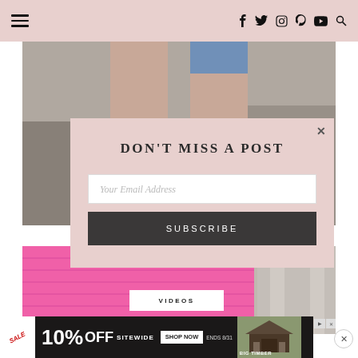Navigation header with hamburger menu and social icons: f, twitter, instagram, pinterest, youtube, search
[Figure (photo): Close-up photo of woman's legs wearing ankle boots and jeans, blurred background]
DON'T MISS A POST
Your Email Address
SUBSCRIBE
[Figure (photo): Woman in bright pink sweater, partial view, with architectural column in background]
VIDEOS
[Figure (other): Advertisement banner: SALE 10% OFF SITEWIDE SHOP NOW ENDS 8/31 BIG TIMBER]